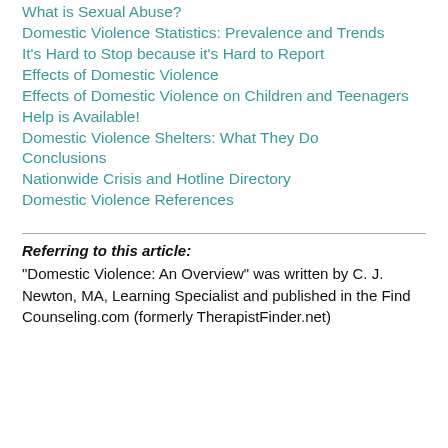What is Sexual Abuse?
Domestic Violence Statistics: Prevalence and Trends
It's Hard to Stop because it's Hard to Report
Effects of Domestic Violence
Effects of Domestic Violence on Children and Teenagers
Help is Available!
Domestic Violence Shelters: What They Do
Conclusions
Nationwide Crisis and Hotline Directory
Domestic Violence References
Referring to this article:
“Domestic Violence: An Overview” was written by C. J. Newton, MA, Learning Specialist and published in the Find Counseling.com (formerly TherapistFinder.net)